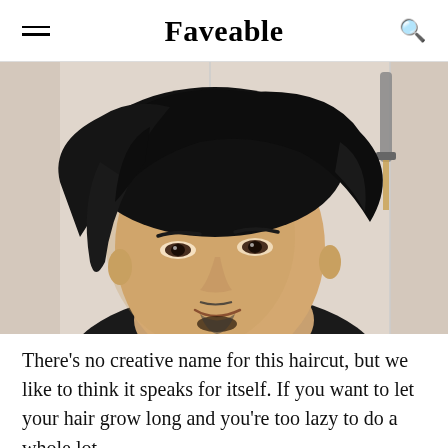Faveable
[Figure (photo): Close-up portrait of a young Asian man with dark tousled medium-length hair swept across his forehead, thin mustache and goatee, wearing a black top, smiling slightly. A hair straightener/curling iron is visible in the background upper right.]
There's no creative name for this haircut, but we like to think it speaks for itself. If you want to let your hair grow long and you're too lazy to do a whole lot